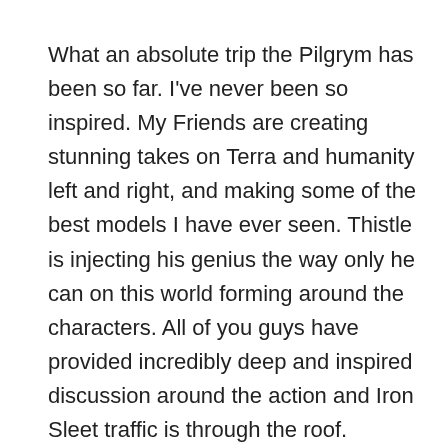What an absolute trip the Pilgrym has been so far. I've never been so inspired. My Friends are creating stunning takes on Terra and humanity left and right, and making some of the best models I have ever seen. Thistle is injecting his genius the way only he can on this world forming around the characters. All of you guys have provided incredibly deep and inspired discussion around the action and Iron Sleet traffic is through the roof. Everything has intertwined into a current I've jumped head long into.
As you know, the Ghost Legion has captured